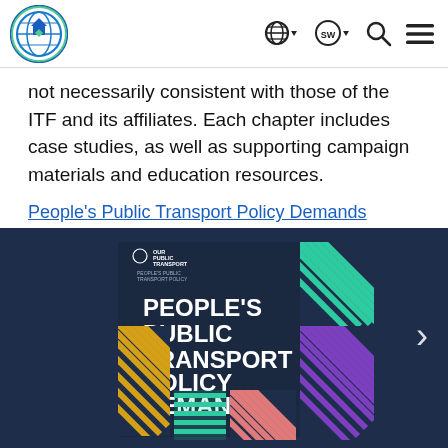ITF navigation bar with logo and icons
not necessarily consistent with those of the ITF and its affiliates. Each chapter includes case studies, as well as supporting campaign materials and education resources.
People's Public Transport Policy Demands
[Figure (photo): Dark navy banner showing the cover of the 'People's Public Transport Policy Demands' publication with colorful diagonal-stripe pattern blocks in teal, gold, pink, purple, and grey on a dark background. A right-arrow navigation button is visible on the right edge.]